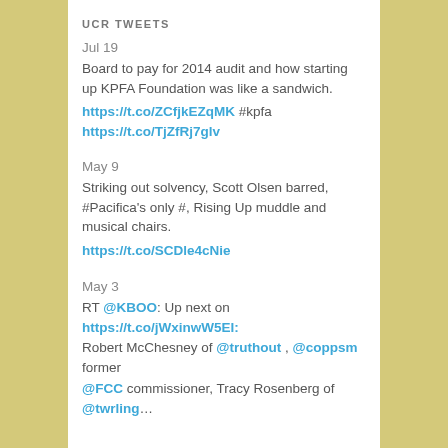UCR TWEETS
Jul 19
Board to pay for 2014 audit and how starting up KPFA Foundation was like a sandwich.
https://t.co/ZCfjkEZqMK #kpfa https://t.co/TjZfRj7glv
May 9
Striking out solvency, Scott Olsen barred, #Pacifica's only #, Rising Up muddle and musical chairs.
https://t.co/SCDle4cNie
May 3
RT @KBOO: Up next on https://t.co/jWxinwW5EI: Robert McChesney of @truthout , @coppsm former @FCC commissioner, Tracy Rosenberg of @twrling…
STATEMENT OF PURPOSE
In our effort to find common ground with those who adhere to the broad goals of United For Community Radio, we invite the